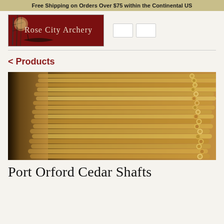Free Shipping on Orders Over $75 within the Continental US
[Figure (logo): Rose City Archery logo — red background with bamboo and boat silhouette artwork, text reads 'Rose City Archery']
< Products
[Figure (photo): Close-up photo of many wooden arrow shafts bundled together, shot from the side showing the cut ends and long cylindrical shafts in warm golden tones]
Port Orford Cedar Shafts